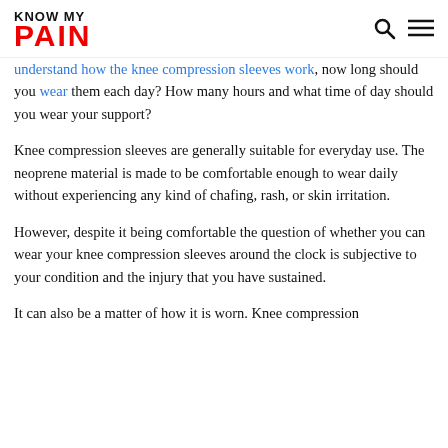KNOW MY PAIN
understand how the knee compression sleeves work, now long should you wear them each day? How many hours and what time of day should you wear your support?
Knee compression sleeves are generally suitable for everyday use. The neoprene material is made to be comfortable enough to wear daily without experiencing any kind of chafing, rash, or skin irritation.
However, despite it being comfortable the question of whether you can wear your knee compression sleeves around the clock is subjective to your condition and the injury that you have sustained.
It can also be a matter of how it is worn. Knee compression